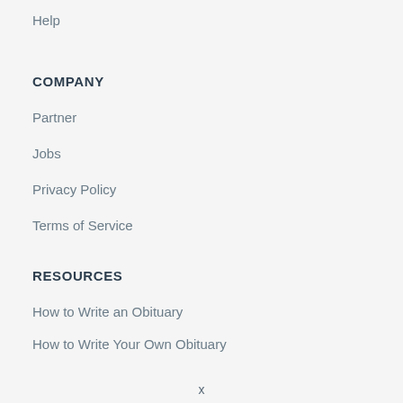Help
COMPANY
Partner
Jobs
Privacy Policy
Terms of Service
RESOURCES
How to Write an Obituary
How to Write Your Own Obituary
x